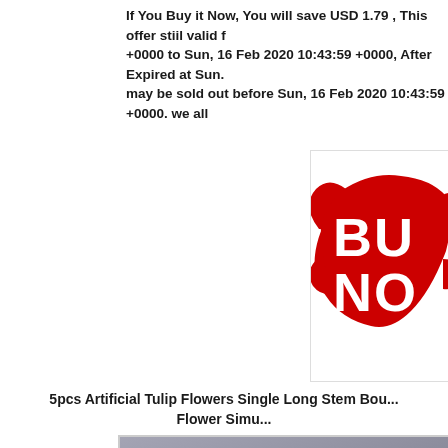If You Buy it Now, You will save USD 1.79 , This offer stiil valid f... +0000 to Sun, 16 Feb 2020 10:43:59 +0000, After Expired at Sun... may be sold out before Sun, 16 Feb 2020 10:43:59 +0000. we all...
[Figure (logo): Red 'BUY NOW' logo/badge with white text on a red splash/wing graphic background, partially cropped on the right side]
5pcs Artificial Tulip Flowers Single Long Stem Bou... Flower Simu...
[Figure (photo): Product photo showing red artificial tulip flowers against a gray background, partially visible at bottom of page]